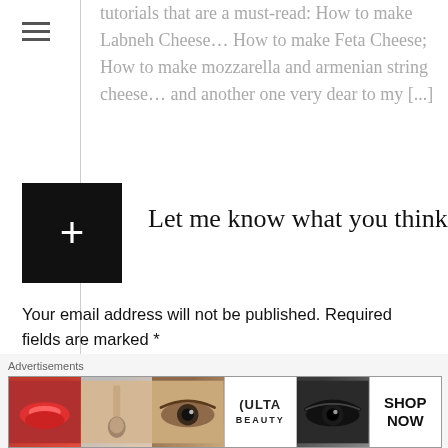tutorials that are a must-read: How to make Labneh Cheese… How to make Feta Cheese…  How to make mozzarella and armenian string cheese… and another one very dear to my [...]
Let me know what you think
Your email address will not be published. Required fields are marked *
Comment *
[Figure (screenshot): Advertisement banner for Ulta Beauty showing makeup product images including lips, brush, eye, Ulta logo, smokey eye, and a Shop Now button]